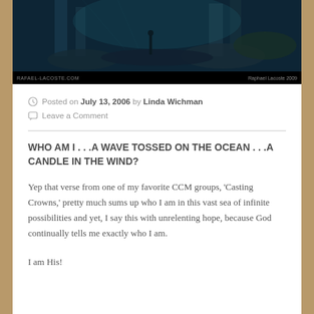[Figure (photo): Dark fantasy/sci-fi concept art showing a warrior figure in a vast underwater or dimly lit stone ruin environment with teal/blue-green lighting. Black bottom bar with website watermarks.]
Posted on July 13, 2006 by Linda Wichman
Leave a Comment
WHO AM I . . .A WAVE TOSSED ON THE OCEAN . . .A CANDLE IN THE WIND?
Yep that verse from one of my favorite CCM groups, ‘Casting Crowns,’ pretty much sums up who I am in this vast sea of infinite possibilities and yet, I say this with unrelenting hope, because God continually tells me exactly who I am.
I am His!